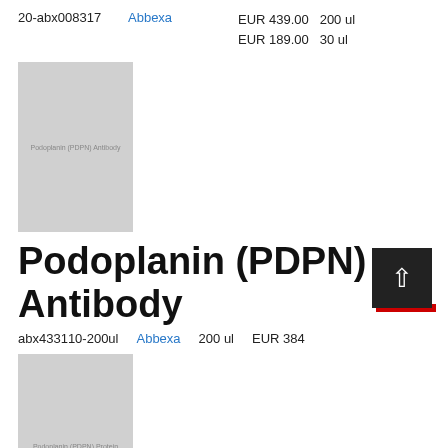20-abx008317    Abbexa    EUR 439.00    200 ul
                          EUR 189.00    30 ul
[Figure (photo): Product image placeholder for Podoplanin (PDPN) Antibody, light gray square with text label]
Podoplanin (PDPN) Antibody
abx433110-200ul    Abbexa    200 ul    EUR 384
[Figure (photo): Product image placeholder for Podoplanin (PDPN) Protein, light gray square with text label]
Podoplanin (PDPN)